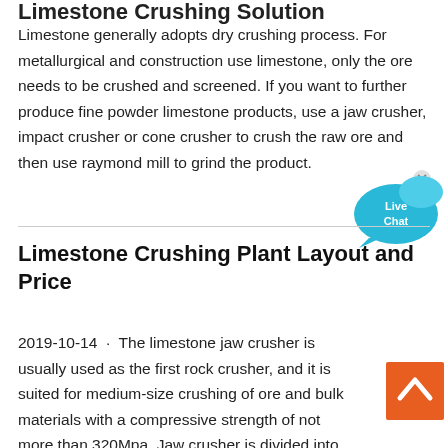Limestone generally adopts dry crushing process. For metallurgical and construction use limestone, only the ore needs to be crushed and screened. If you want to further produce fine powder limestone products, use a jaw crusher, impact crusher or cone crusher to crush the raw ore and then use raymond mill to grind the product.
[Figure (other): Live Chat bubble icon with blue speech bubble shapes and 'Live Chat' text, with an X close button]
Limestone Crushing Plant Layout and Price
2019-10-14 · The limestone jaw crusher is usually used as the first rock crusher, and it is suited for medium-size crushing of ore and bulk materials with a compressive strength of not more than 320Mpa. Jaw crusher is divided into ...
[Figure (other): Orange back-to-top button with white upward chevron arrow]